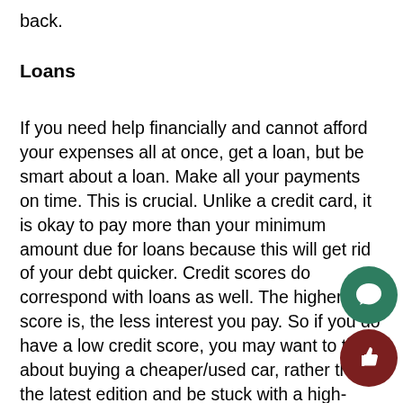back.
Loans
If you need help financially and cannot afford your expenses all at once, get a loan, but be smart about a loan. Make all your payments on time. This is crucial. Unlike a credit card, it is okay to pay more than your minimum amount due for loans because this will get rid of your debt quicker. Credit scores do correspond with loans as well. The higher your score is, the less interest you pay. So if you do have a low credit score, you may want to think about buying a cheaper/used car, rather than the latest edition and be stuck with a high-interest percentage. However, if you would like a loan, many banks differ with their requirements. You must have a bank account and credit established, or collateral which is something you can use as insurance. So if you put up your home and don't pay the loan back, the bank has the authority to claim